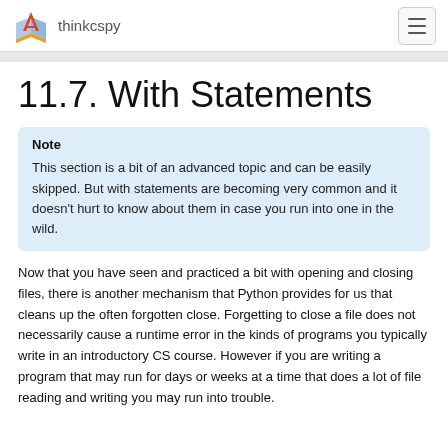thinkcspy
11.7. With Statements
Note
This section is a bit of an advanced topic and can be easily skipped. But with statements are becoming very common and it doesn't hurt to know about them in case you run into one in the wild.
Now that you have seen and practiced a bit with opening and closing files, there is another mechanism that Python provides for us that cleans up the often forgotten close. Forgetting to close a file does not necessarily cause a runtime error in the kinds of programs you typically write in an introductory CS course. However if you are writing a program that may run for days or weeks at a time that does a lot of file reading and writing you may run into trouble.